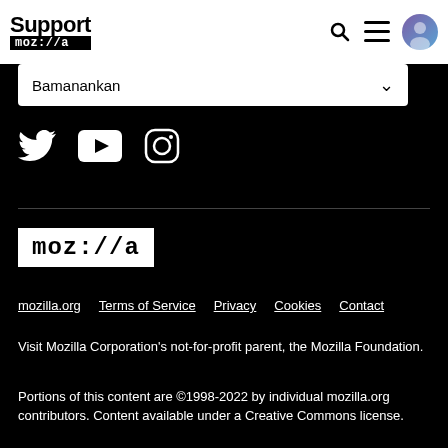[Figure (logo): Mozilla Support header with 'Support moz://a' logo and navigation icons (search, menu, user avatar)]
Bamanankan
[Figure (illustration): Social media icons: Twitter, YouTube, Instagram]
[Figure (logo): Mozilla logo: moz://a in white text on white box with black text]
mozilla.org   Terms of Service   Privacy   Cookies   Contact
Visit Mozilla Corporation's not-for-profit parent, the Mozilla Foundation.
Portions of this content are ©1998-2022 by individual mozilla.org contributors. Content available under a Creative Commons license.